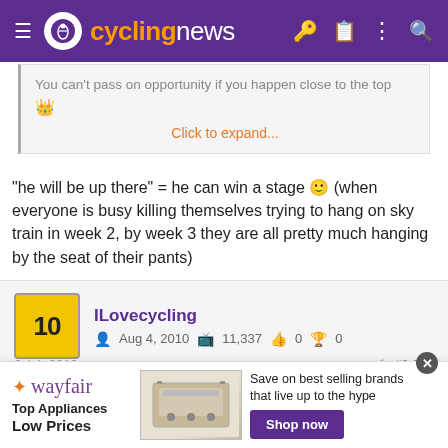[Figure (screenshot): Cyclingnews website header with purple background, logo, and navigation icons]
You can't pass on opportunity if you happen close to the top
Click to expand...
"he will be up there" = he can win a stage 🙂 (when everyone is busy killing themselves trying to hang on sky train in week 2, by week 3 they are all pretty much hanging by the seat of their pants)
ILovecycling
Aug 4, 2010   11,337   0   0
Jul 4, 2016   #9,990
Re: Re:
[Figure (screenshot): Wayfair advertisement banner: Top Appliances Low Prices, appliance image, Save on best selling brands that live up to the hype, Shop now button]